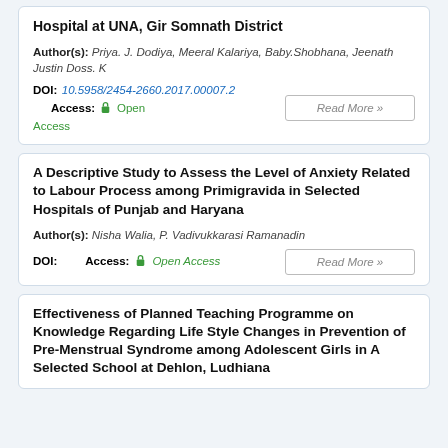Hospital at UNA, Gir Somnath District
Author(s): Priya. J. Dodiya, Meeral Kalariya, Baby.Shobhana, Jeenath Justin Doss. K
DOI: 10.5958/2454-2660.2017.00007.2  Access: Open Access
Read More »
A Descriptive Study to Assess the Level of Anxiety Related to Labour Process among Primigravida in Selected Hospitals of Punjab and Haryana
Author(s): Nisha Walia, P. Vadivukkarasi Ramanadin
DOI:   Access: Open Access
Read More »
Effectiveness of Planned Teaching Programme on Knowledge Regarding Life Style Changes in Prevention of Pre-Menstrual Syndrome among Adolescent Girls in A Selected School at Dehlon, Ludhiana